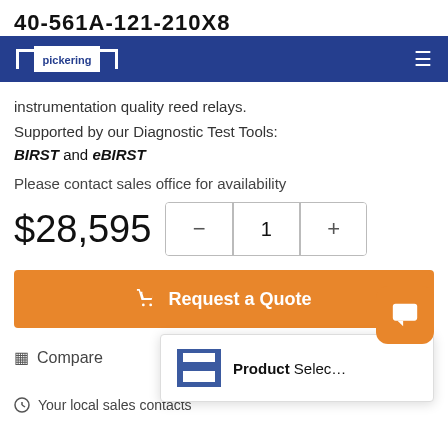40-561A-121-210X8
[Figure (logo): Pickering logo on dark blue navigation bar with hamburger menu icon]
instrumentation quality reed relays. Supported by our Diagnostic Test Tools: BIRST and eBIRST
Please contact sales office for availability
$28,595
Request a Quote
Compare
Product Selec…
Your local sales contacts